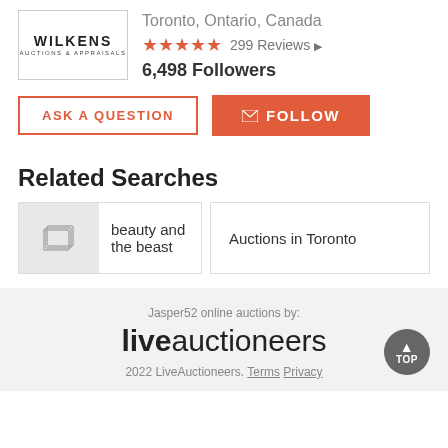[Figure (logo): Wilkens Auctions & Appraisals logo in a bordered box]
Toronto, Ontario, Canada
★★★★★ 299 Reviews ▶
6,498 Followers
ASK A QUESTION
✉ FOLLOW
Related Searches
beauty and the beast
Auctions in Toronto
Jasper52 online auctions by: liveauctioneers  2022 LiveAuctioneers. Terms Privacy